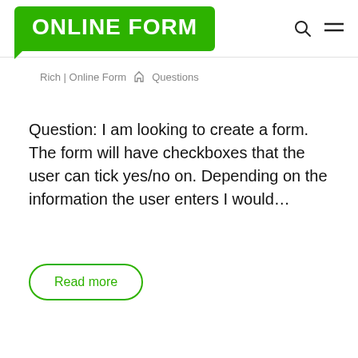ONLINE FORM
Rich | Online Form  ◇  Questions
Question: I am looking to create a form. The form will have checkboxes that the user can tick yes/no on. Depending on the information the user enters I would…
Read more